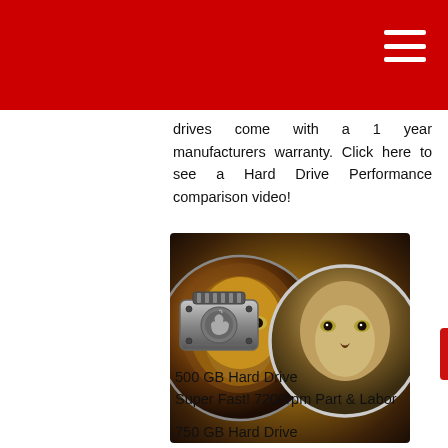drives come with a 1 year manufacturers warranty. Click here to see a Hard Drive Performance comparison video!
[Figure (illustration): Two circular Mac OS X icons side by side showing a lion (OS X Lion) and a mountain lion/cougar (OS X Mountain Lion) on a dark brown/golden background, with a red 'Send an Enquiry' button overlapping on the right.]
[Figure (illustration): Mac hard drive icon — a metallic hard disk with an Apple logo.]
500 GB Hard Drive
Super Fast! 7200rpm Part & Labor
750 GB Hard Drive